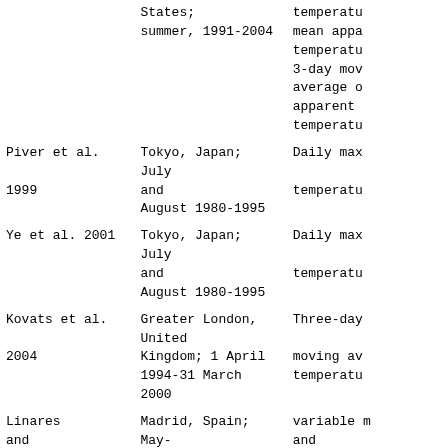| Author | Location/Period | Temperature Measure |
| --- | --- | --- |
|  | States;
summer, 1991-2004 | temperatu...
mean appa
temperatu
3-day mov
average o
apparent
temperatu |
| Piver et al.
1999 | Tokyo, Japan; July
and
August 1980-1995 | Daily max
temperatu |
| Ye et al. 2001 | Tokyo, Japan; July
and
August 1980-1995 | Daily max
temperatu |
| Kovats et al.
2004 | Greater London,
United
Kingdom; 1 April
1994-31 March 2000 | Three-day
moving av
temperatu |
| Linares
and
Diaz 2008 | Madrid, Spain;
May-
September, | variable m
and
minimum |